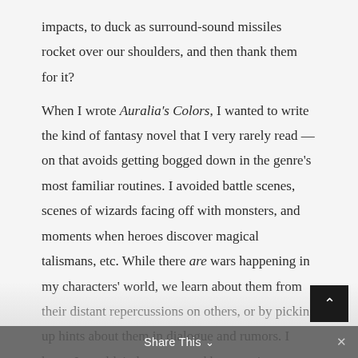impacts, to duck as surround-sound missiles rocket over our shoulders, and then thank them for it?
When I wrote Auralia’s Colors, I wanted to write the kind of fantasy novel that I very rarely read — on that avoids getting bogged down in the genre’s most familiar routines. I avoided battle scenes, scenes of wizards facing off with monsters, and moments when heroes discover magical talismans, etc. While there are wars happening in my characters’ world, we learn about them from their distant repercussions on others, or by picking up hints about them in dialogue and rumors. I knew I wouldn’t draw a crowd by pursuing unconventional scenes, but I wanted to write what I would find challenging and surprising
Share This